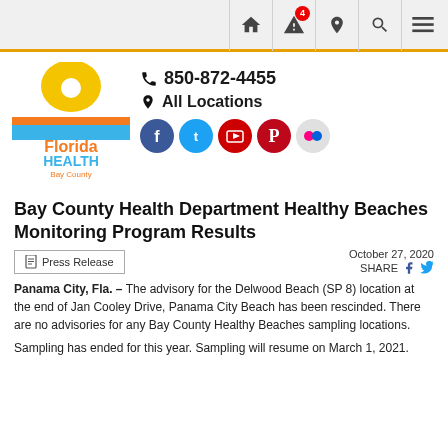Navigation bar with home, alert (4), location, search, menu icons
[Figure (logo): Florida Health Bay County logo — sun rays over beach with Florida HEALTH Bay County text]
📞 850-872-4455
📍 All Locations
[Figure (infographic): Social media icons: Facebook, Twitter, YouTube, Pinterest, Flickr]
Bay County Health Department Healthy Beaches Monitoring Program Results
Press Release
October 27, 2020
SHARE
Panama City, Fla. – The advisory for the Delwood Beach (SP 8) location at the end of Jan Cooley Drive, Panama City Beach has been rescinded. There are no advisories for any Bay County Healthy Beaches sampling locations.
Sampling has ended for this year. Sampling will resume on March 1, 2021.